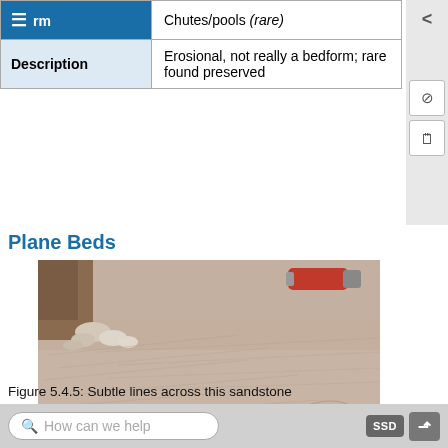| Form | Chutes/pools (rare) |
| --- | --- |
| Description | Erosional, not really a bedform; rare found preserved |
Plane Beds
[Figure (photo): Close-up photograph of a sandstone surface showing subtle parting lineations trending from lower left to upper right. Some rounded pebbles visible at upper left, and an object (possibly a Swiss Army knife) at upper right for scale.]
Figure 5.4.5: Subtle lines across this sandstone (trending from the lower left to upper right) are parting lineations
How can we help   SSD